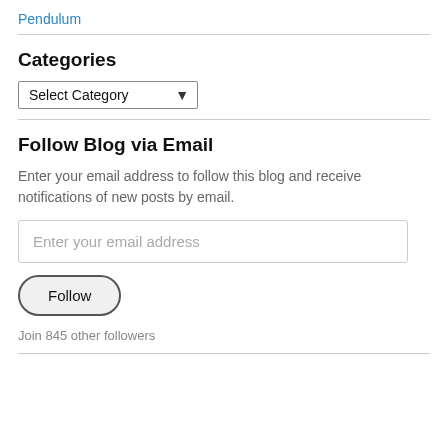Pendulum
Categories
Select Category
Follow Blog via Email
Enter your email address to follow this blog and receive notifications of new posts by email.
Enter your email address
Follow
Join 845 other followers